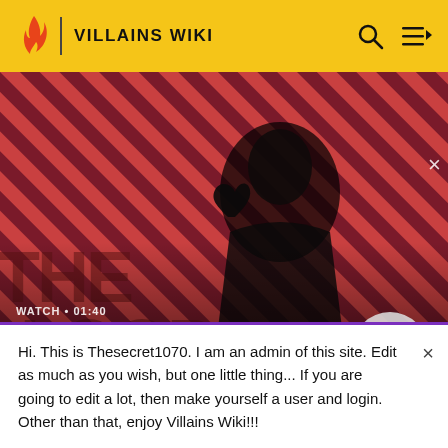VILLAINS WIKI
[Figure (screenshot): Video thumbnail showing a dark-robed figure with a raven on their shoulder against a red and dark diagonal striped background. Text overlay reads WATCH • 01:40, The Sandman Will Keep You Awake - The Loop. A play button circle is visible on the right.]
Had Doctor
Servant of the Blot
Hi. This is Thesecret1070. I am an admin of this site. Edit as much as you wish, but one little thing... If you are going to edit a lot, then make yourself a user and login. Other than that, enjoy Villains Wiki!!!